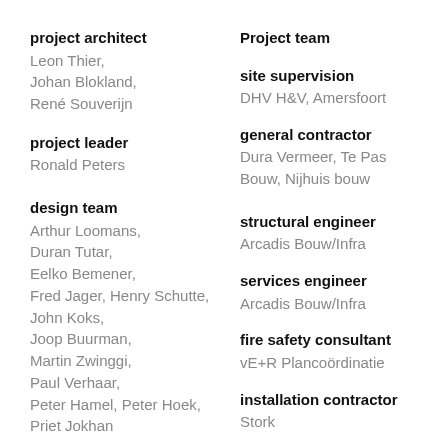project architect
Leon Thier,
Johan Blokland,
René Souverijn
Project team
site supervision
DHV H&V, Amersfoort
project leader
Ronald Peters
general contractor
Dura Vermeer, Te Pas Bouw, Nijhuis bouw
design team
Arthur Loomans,
Duran Tutar,
Eelko Bemener,
Fred Jager, Henry Schutte,
John Koks,
Joop Buurman,
Martin Zwinggi,
Paul Verhaar,
Peter Hamel, Peter Hoek,
Priet Jokhan
structural engineer
Arcadis Bouw/Infra
services engineer
Arcadis Bouw/Infra
fire safety consultant
vE+R Plancoördinatie
installation contractor
Stork